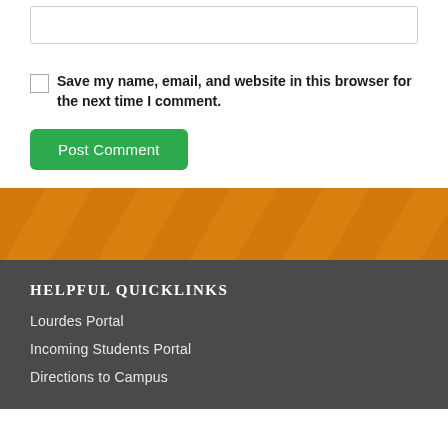[input field]
Save my name, email, and website in this browser for the next time I comment.
Post Comment
[Figure (other): Orange decorative banner with diagonal pattern]
HELPFUL QUICKLINKS
Lourdes Portal
Incoming Students Portal
Directions to Campus